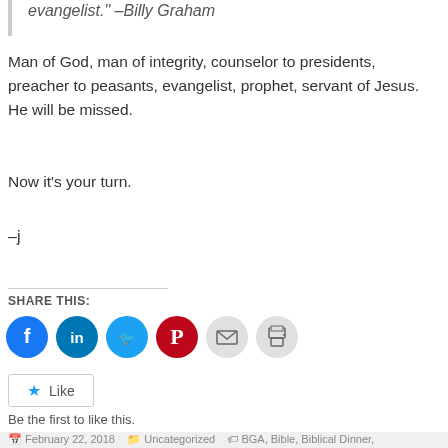evangelist." –Billy Graham
Man of God, man of integrity, counselor to presidents, preacher to peasants, evangelist, prophet, servant of Jesus. He will be missed.
Now it's your turn.
–j
[Figure (other): Share this: row of social media icon buttons for Facebook, LinkedIn, Twitter, Pinterest, Email, and Print]
Like
Be the first to like this.
February 22, 2018   Uncategorized   BGA, Bible, Biblical Dinner,